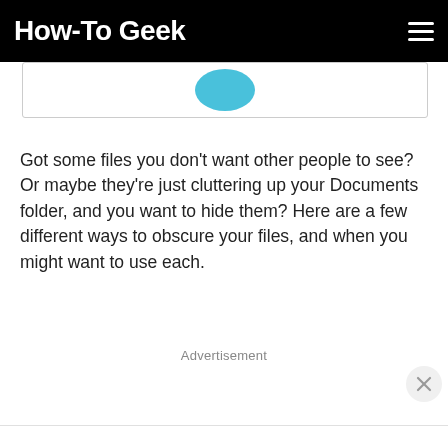How-To Geek
[Figure (screenshot): Partial screenshot showing a white box with a cyan/blue circle element visible at the top of the page content area]
Got some files you don't want other people to see? Or maybe they're just cluttering up your Documents folder, and you want to hide them? Here are a few different ways to obscure your files, and when you might want to use each.
Advertisement